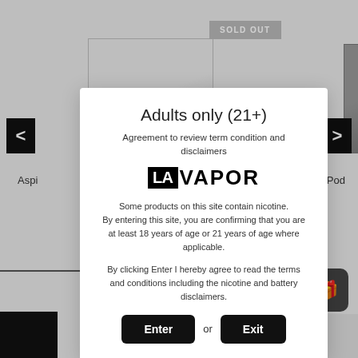[Figure (screenshot): Background e-commerce website page showing vaping products, navigation arrows, and a 'SOLD OUT' banner]
Adults only (21+)
Agreement to review term condition and disclaimers
[Figure (logo): LAVAPOR logo — 'LA' in white text on black background, 'VAPOR' in large bold black text]
Some products on this site contain nicotine. By entering this site, you are confirming that you are at least 18 years of age or 21 years of age where applicable.
By clicking Enter I hereby agree to read the terms and conditions including the nicotine and battery disclaimers.
Enter or Exit